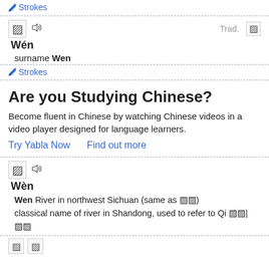✏ Strokes
文  🔊   Trad. 文
Wén
surname Wen
✏ Strokes
Are you Studying Chinese?
Become fluent in Chinese by watching Chinese videos in a video player designed for language learners.
Try Yabla Now    Find out more
文  🔊
Wèn
Wen River in northwest Sichuan (same as 汶川) classical name of river in Shandong, used to refer to Qi 齊水|齐水
文文